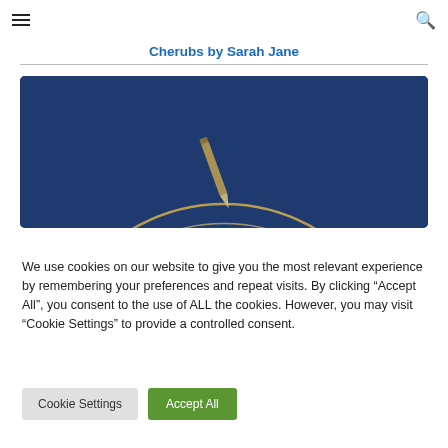☰  [search icon]
Cherubs by Sarah Jane
[Figure (illustration): Dark navy blue background with a golden circular arc design and a pencil/pen tool illustration, partial view]
We use cookies on our website to give you the most relevant experience by remembering your preferences and repeat visits. By clicking "Accept All", you consent to the use of ALL the cookies. However, you may visit "Cookie Settings" to provide a controlled consent.
Cookie Settings
Accept All